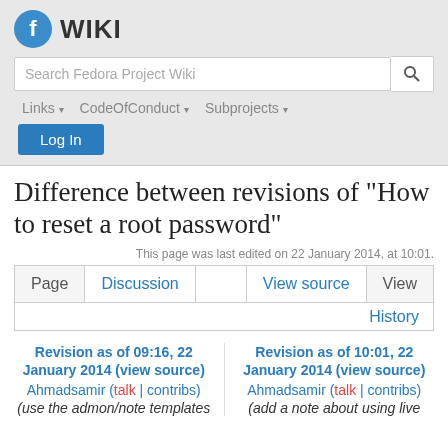[Figure (logo): Fedora Project Wiki logo with blue Fedora infinity icon and WIKI text]
Search Fedora Project Wiki
Links ▾  CodeOfConduct ▾  Subprojects ▾
Log In
Difference between revisions of "How to reset a root password"
This page was last edited on 22 January 2014, at 10:01.
Page  Discussion  View source  View
History
Revision as of 09:16, 22 January 2014 (view source)
Ahmadsamir (talk | contribs)
(use the admon/note templates
Revision as of 10:01, 22 January 2014 (view source)
Ahmadsamir (talk | contribs)
(add a note about using live